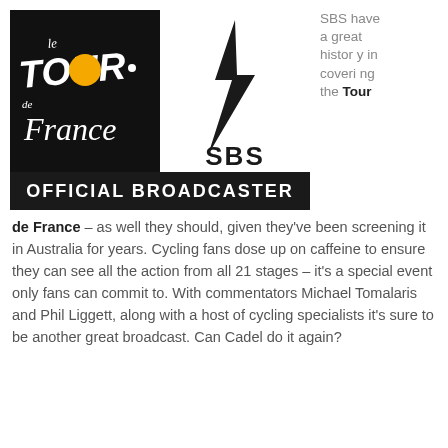[Figure (logo): Tour de France and SBS Official Broadcaster logo composite image]
SBS have a great history in covering the Tour de France – as well they should, given they've been screening it in Australia for years. Cycling fans dose up on caffeine to ensure they can see all the action from all 21 stages – it's a special event only fans can commit to. With commentators Michael Tomalaris and Phil Liggett, along with a host of cycling specialists it's sure to be another great broadcast. Can Cadel do it again?